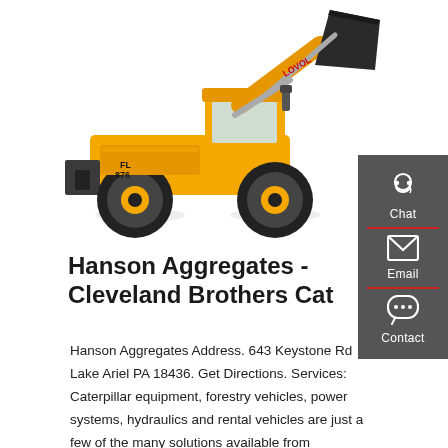[Figure (photo): Yellow Lovol wheel loader (front loader / construction vehicle) with raised bucket, on white background. Text on machine reads 'FL 876' and 'LOVOL'.]
Hanson Aggregates - Cleveland Brothers Cat
Hanson Aggregates Address. 643 Keystone Rd Lake Ariel PA 18436. Get Directions. Services: Caterpillar equipment, forestry vehicles, power systems, hydraulics and rental vehicles are just a few of the many solutions available from